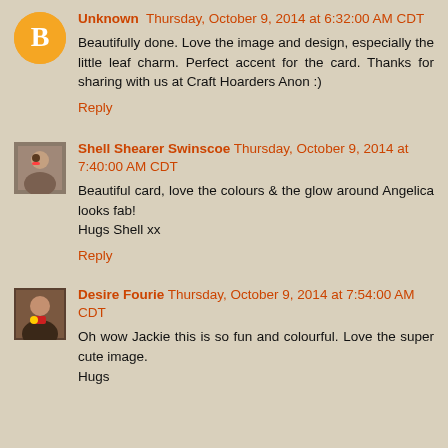Unknown  Thursday, October 9, 2014 at 6:32:00 AM CDT
Beautifully done. Love the image and design, especially the little leaf charm. Perfect accent for the card. Thanks for sharing with us at Craft Hoarders Anon :)
Reply
Shell Shearer Swinscoe  Thursday, October 9, 2014 at 7:40:00 AM CDT
Beautiful card, love the colours & the glow around Angelica looks fab!
Hugs Shell xx
Reply
Desire Fourie  Thursday, October 9, 2014 at 7:54:00 AM CDT
Oh wow Jackie this is so fun and colourful. Love the super cute image.
Hugs